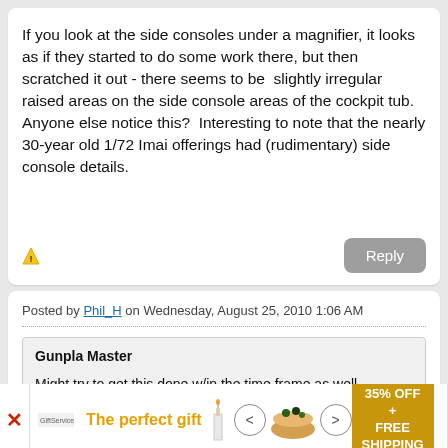If you look at the side consoles under a magnifier, it looks as if they started to do some work there, but then scratched it out - there seems to be  slightly irregular raised areas on the side console areas of the cockpit tub. Anyone else notice this?  Interesting to note that the nearly 30-year old 1/72 Imai offerings had (rudimentary) side console details.
Posted by Phil_H on Wednesday, August 25, 2010 1:06 AM
Gunpla Master

Might try to get this done w/in the time frame as well.
[Figure (infographic): Advertisement banner: The perfect gift - 35% OFF + FREE SHIPPING, with candle and bowl images and navigation arrows]